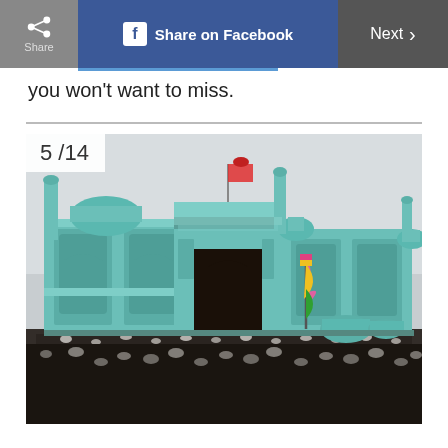Share | Share on Facebook | Next >
you won't want to miss.
[Figure (photo): Large mosque with teal/turquoise tilework and domes, crowded with thousands of people in the courtyard. A colorful flag is visible. Overcast sky. Counter overlay shows 5/14.]